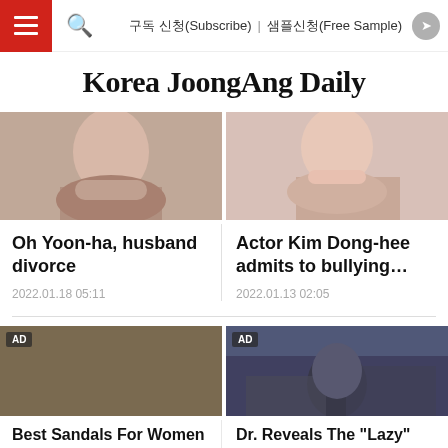≡  🔍   구독 신청(Subscribe)  샘플신청(Free Sample)  ↗
Korea JoongAng Daily
[Figure (photo): Photo of Oh Yoon-ha (cropped face/neck)]
[Figure (photo): Photo of Actor Kim Dong-hee (cropped face/lips)]
Oh Yoon-ha, husband divorce
2022.01.18 05:11
Actor Kim Dong-hee admits to bullying…
2022.01.13 02:05
[Figure (photo): AD: Photo of blue sandals/shoes on rocky surface]
[Figure (photo): AD: Photo of elderly muscular man in gym posing]
Best Sandals For Women To Ensure Safety And
Dr. Reveals The "Lazy" Way to Greater Muscle Mass E